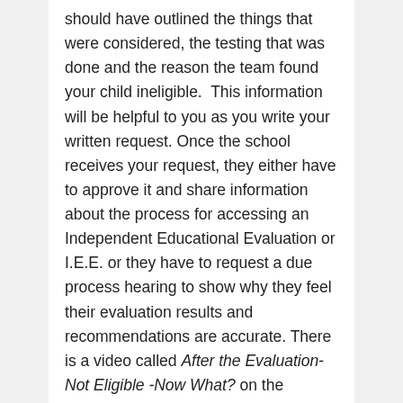should have outlined the things that were considered, the testing that was done and the reason the team found your child ineligible.  This information will be helpful to you as you write your written request.  Once the school receives your request, they either have to approve it and share information about the process for accessing an Independent Educational Evaluation or I.E.E. or they have to request a due process hearing to show why they feel their evaluation results and recommendations are accurate. There is a video called After the Evaluation- Not Eligible -Now What? on the Michigan Alliance for Families website that provides much more detail about this process. You can link to it by clicking here.